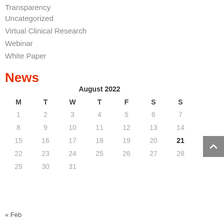Transparency
Uncategorized
Virtual Clinical Research
Webinar
White Paper
News
| M | T | W | T | F | S | S |
| --- | --- | --- | --- | --- | --- | --- |
| 1 | 2 | 3 | 4 | 5 | 6 | 7 |
| 8 | 9 | 10 | 11 | 12 | 13 | 14 |
| 15 | 16 | 17 | 18 | 19 | 20 | 21 |
| 22 | 23 | 24 | 25 | 26 | 27 | 28 |
| 29 | 30 | 31 |  |  |  |  |
« Feb